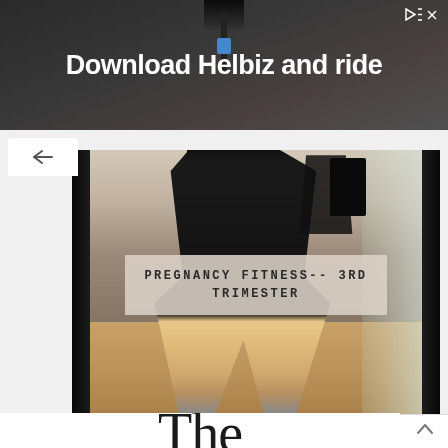[Figure (photo): Advertisement banner with dark background showing text 'Download Helbiz and ride' in large white bold font, with an ad icon in the top right corner]
[Figure (photo): Person in black athletic workout outfit (tank top and shorts) taking a mirror selfie showing a pregnant belly in the third trimester. The photo has a mirror frame visible. An overlay text box reads 'PREGNANCY FITNESS-- 3RD TRIMESTER'. Below the main photo is a partial view of decorative 'The' text in serif font.]